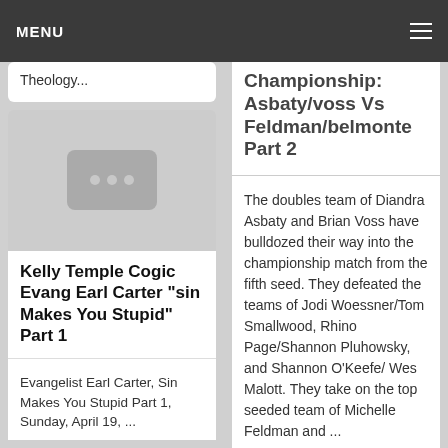MENU
Theology...
[Figure (photo): Gray placeholder image with three dots icon]
Kelly Temple Cogic Evang Earl Carter "sin Makes You Stupid" Part 1
Evangelist Earl Carter, Sin Makes You Stupid Part 1, Sunday, April 19, ...
Championship: Asbaty/voss Vs Feldman/belmonte Part 2
The doubles team of Diandra Asbaty and Brian Voss have bulldozed their way into the championship match from the fifth seed. They defeated the teams of Jodi Woessner/Tom Smallwood, Rhino Page/Shannon Pluhowsky, and Shannon O'Keefe/ Wes Malott. They take on the top seeded team of Michelle Feldman and ...